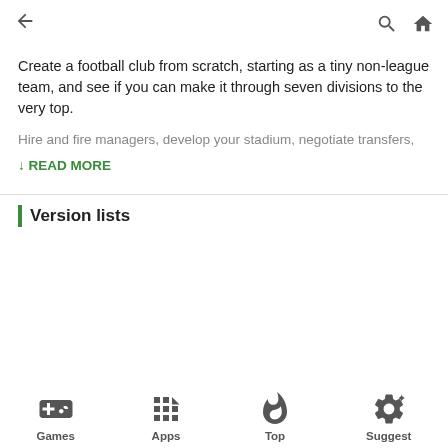← (back) 🔍 🏠
Create a football club from scratch, starting as a tiny non-league team, and see if you can make it through seven divisions to the very top.
Hire and fire managers, develop your stadium, negotiate transfers,
↓ READ MORE
Version lists
Games  Apps  Top  Suggest